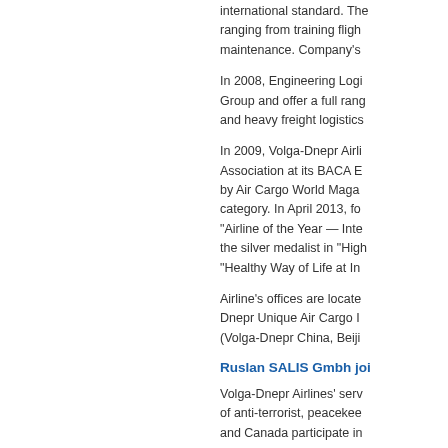international standard. The services ranging from training fligh... maintenance. Company's...
In 2008, Engineering Logi... Group and offer a full rang... and heavy freight logistics...
In 2009, Volga-Dnepr Airli... Association at its BACA E... by Air Cargo World Maga... category. In April 2013, fo... "Airline of the Year — Inte... the silver medalist in "High... "Healthy Way of Life at In...
Airline's offices are locate... Dnepr Unique Air Cargo I... (Volga-Dnepr China, Beiji...
Ruslan SALIS Gmbh joi...
Volga-Dnepr Airlines' serv... of anti-terrorist, peacekee... and Canada participate in...